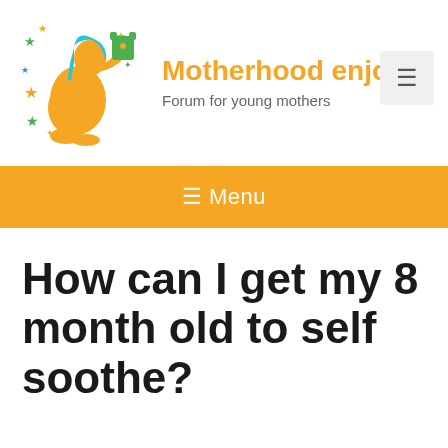[Figure (logo): Motherhood enjoyment forum logo: cartoon illustration of a pregnant woman in orange holding a green baby onesie with colorful stars around her, drawn in teal/orange/green colors]
Motherhood enjoyme
Forum for young mothers
≡ Menu
How can I get my 8 month old to self soothe?